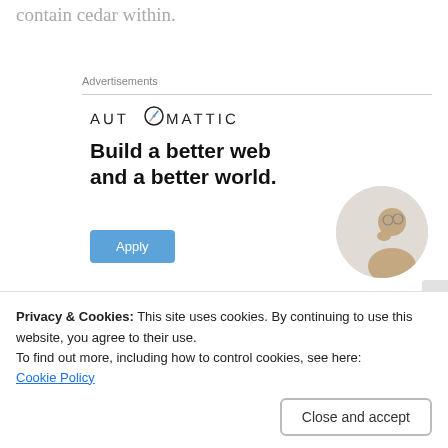contain cedar within.
Advertisements
[Figure (logo): Automattic logo with compass/circle icon replacing the O]
[Figure (infographic): Advertisement banner: bold headline 'Build a better web and a better world.' with a blue Apply button and a circular photo of a man thinking]
Privacy & Cookies: This site uses cookies. By continuing to use this website, you agree to their use.
To find out more, including how to control cookies, see here:
Cookie Policy
Close and accept